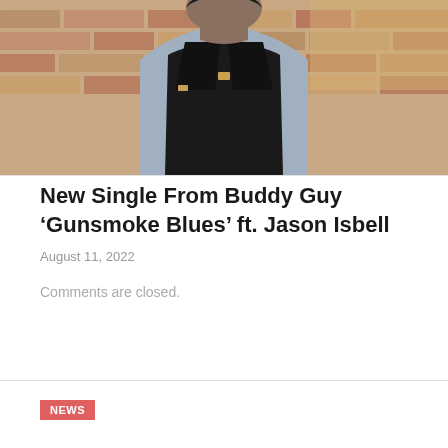[Figure (photo): Person wearing a black apron over a blue/grey shirt, standing in front of a brick wall background. Photo is cropped to show torso and lower face area.]
New Single From Buddy Guy ‘Gunsmoke Blues’ ft. Jason Isbell
August 11, 2022
Comments are closed.
NEWS